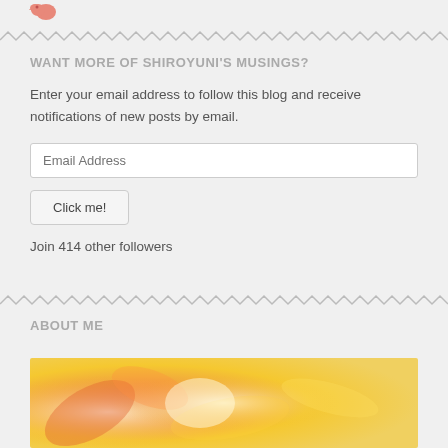[Figure (logo): Pink/salmon colored bird icon (Twitter bird) in top left corner]
WANT MORE OF SHIROYUNI'S MUSINGS?
Enter your email address to follow this blog and receive notifications of new posts by email.
Email Address
Click me!
Join 414 other followers
ABOUT ME
[Figure (photo): Warm orange and yellow blurred floral/nature background image]